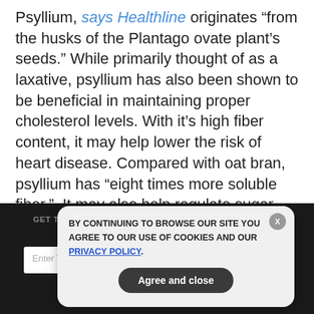Psyllium, says Healthline originates "from the husks of the Plantago ovate plant’s seeds." While primarily thought of as a laxative, psyllium has also been shown to be beneficial in maintaining proper cholesterol levels. With it’s high fiber content, it may help lower the risk of heart disease. Compared with oat bran, psyllium has “eight times more soluble fiber.”  It may also help regulate sugar levels for diabetics. Drink lots of water and incorporate it slowly. Eating too much too high fiber too fast could cause bloating
[Figure (screenshot): Dark background newsletter signup section with overlaid cookie consent dialog. The newsletter section reads 'GET THE WORLD'S BEST NATURAL HEALTH NEWSLETTER DELIVERED STRAIGHT TO YOUR INBOX' with an email input field and SUBSCRIBE button. The cookie dialog says 'BY CONTINUING TO BROWSE OUR SITE YOU AGREE TO OUR USE OF COOKIES AND OUR PRIVACY POLICY.' with an 'Agree and close' button and an X close button.]